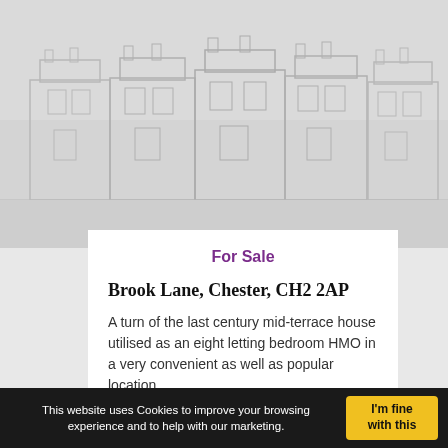[Figure (photo): Exterior photo of a terraced house on Brook Lane, Chester — shown as a light grey placeholder with faint outline of a row of terraced houses]
For Sale
Brook Lane, Chester, CH2 2AP
A turn of the last century mid-terrace house utilised as an eight letting bedroom HMO in a very convenient as well as popular location
This website uses Cookies to improve your browsing experience and to help with our marketing.
I'm fine with this